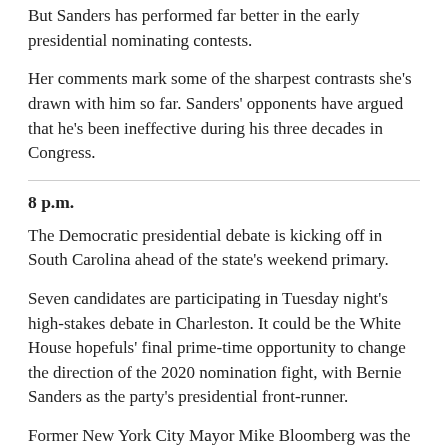But Sanders has performed far better in the early presidential nominating contests.
Her comments mark some of the sharpest contrasts she's drawn with him so far. Sanders' opponents have argued that he's been ineffective during his three decades in Congress.
8 p.m.
The Democratic presidential debate is kicking off in South Carolina ahead of the state's weekend primary.
Seven candidates are participating in Tuesday night's high-stakes debate in Charleston. It could be the White House hopefuls' final prime-time opportunity to change the direction of the 2020 nomination fight, with Bernie Sanders as the party's presidential front-runner.
Former New York City Mayor Mike Bloomberg was the focus of last week's debate for his highly anticipated debut, but after a bad performance froze his momentum, the knives are